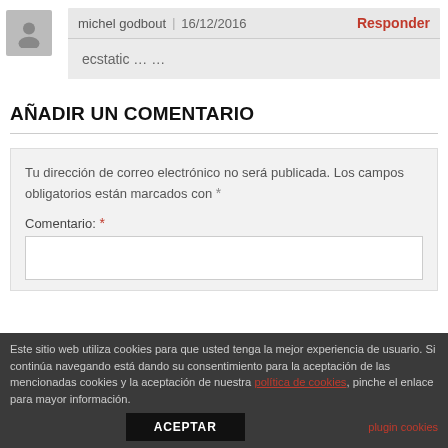michel godbout | 16/12/2016   Responder
ecstatic … …
AÑADIR UN COMENTARIO
Tu dirección de correo electrónico no será publicada. Los campos obligatorios están marcados con *
Comentario: *
Este sitio web utiliza cookies para que usted tenga la mejor experiencia de usuario. Si continúa navegando está dando su consentimiento para la aceptación de las mencionadas cookies y la aceptación de nuestra política de cookies, pinche el enlace para mayor información.
ACEPTAR
plugin cookies